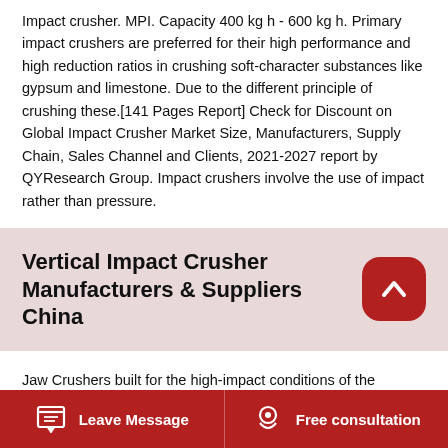Impact crusher. MPI. Capacity 400 kg h - 600 kg h. Primary impact crushers are preferred for their high performance and high reduction ratios in crushing soft-character substances like gypsum and limestone. Due to the different principle of crushing these.[141 Pages Report] Check for Discount on Global Impact Crusher Market Size, Manufacturers, Supply Chain, Sales Channel and Clients, 2021-2027 report by QYResearch Group. Impact crushers involve the use of impact rather than pressure.
Vertical Impact Crusher Manufacturers & Suppliers China
Jaw Crushers built for the high-impact conditions of the Ferrochrome industry. Supply of Crusher Wear Parts Mechanical Spares. We reliably cast, manufacture and supply a full range of wear parts and mechanical spares that supports most crusher makes and models. High Quality Crusher
Leave Message   Free consultation